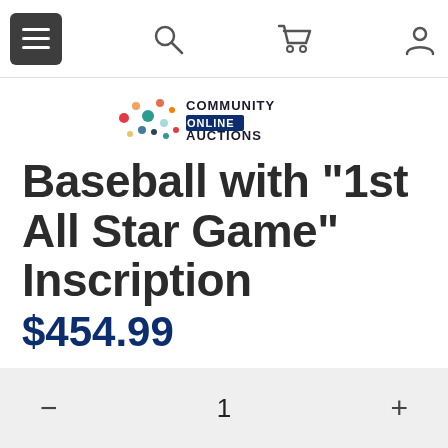Community Online Auctions — Navigation bar with menu, search, cart, and account icons
[Figure (logo): Community Online Auctions logo with colorful dots pattern and text]
Baseball with "1st All Star Game" Inscription
$454.99
Free Shipping
Ask about this product
1